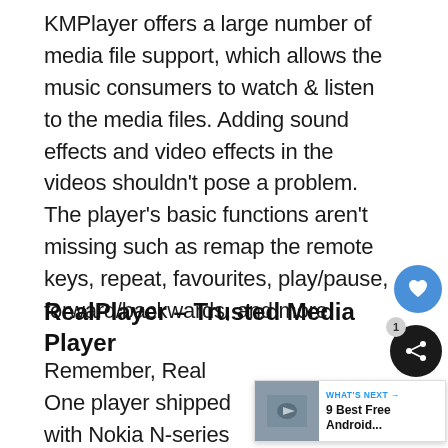KMPlayer offers a large number of media file support, which allows the music consumers to watch & listen to the media files. Adding sound effects and video effects in the videos shouldn't pose a problem. The player's basic functions aren't missing such as remap the remote keys, repeat, favourites, play/pause, forward/backwards, and more.
RealPlayer – Trusted Media Player
Remember, Real One player shipped with Nokia N-series phones? This is the company that designed & made an N-series
[Figure (other): Heart/like button (blue circle with heart icon) and share button (dark circle with share icon) overlaid on the page, plus a 'What's Next' card showing '9 Best Free Android...' with a thumbnail]